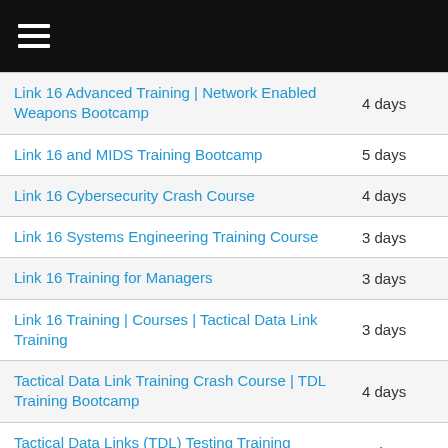| Course | Duration |
| --- | --- |
| Link 16 Advanced Training | Network Enabled Weapons Bootcamp | 4 days |
| Link 16 and MIDS Training Bootcamp | 5 days |
| Link 16 Cybersecurity Crash Course | 4 days |
| Link 16 Systems Engineering Training Course | 3 days |
| Link 16 Training for Managers | 3 days |
| Link 16 Training | Courses | Tactical Data Link Training | 3 days |
| Tactical Data Link Training Crash Course | TDL Training Bootcamp | 4 days |
| Tactical Data Links (TDL) Testing Training Bootcamp | 4 days |
| Variable Message Format (VMF) | 4 days |